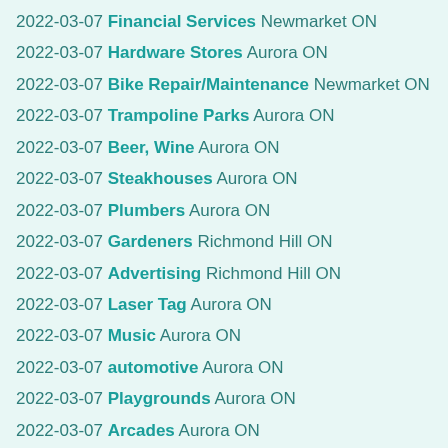2022-03-07 Financial Services Newmarket ON
2022-03-07 Hardware Stores Aurora ON
2022-03-07 Bike Repair/Maintenance Newmarket ON
2022-03-07 Trampoline Parks Aurora ON
2022-03-07 Beer, Wine Aurora ON
2022-03-07 Steakhouses Aurora ON
2022-03-07 Plumbers Aurora ON
2022-03-07 Gardeners Richmond Hill ON
2022-03-07 Advertising Richmond Hill ON
2022-03-07 Laser Tag Aurora ON
2022-03-07 Music Aurora ON
2022-03-07 automotive Aurora ON
2022-03-07 Playgrounds Aurora ON
2022-03-07 Arcades Aurora ON
2022-03-07 Tex-Mex Newmarket ON
2022-03-07 Education Aurora ON
2022-03-07 Dance Schools Newmarket ON
2022-03-07 South African Richmond Hill ON
2022-03-07 Cabinetry Richmond Hill ON
2022-03-07 Specialty Schools Richmond Hill ON
2022-03-07 Bagels Newmarket ON
2022-03-07 Local Services Aurora ON
2022-03-07 Musical Instruments Newmarket ON